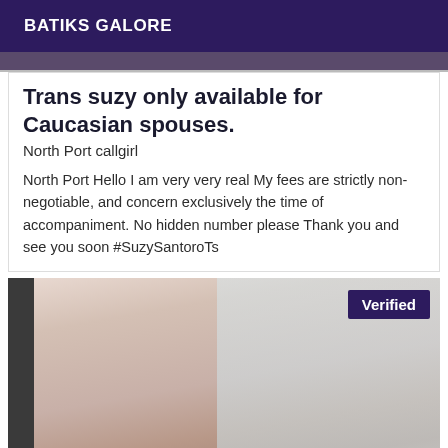BATIKS GALORE
[Figure (photo): Partial top photo, darkened/cropped]
Trans suzy only available for Caucasian spouses.
North Port callgirl
North Port Hello I am very very real My fees are strictly non-negotiable, and concern exclusively the time of accompaniment. No hidden number please Thank you and see you soon #SuzySantoroTs
[Figure (photo): Photo of person's legs near a tiled wall, with a 'Verified' badge overlay in the top right corner]